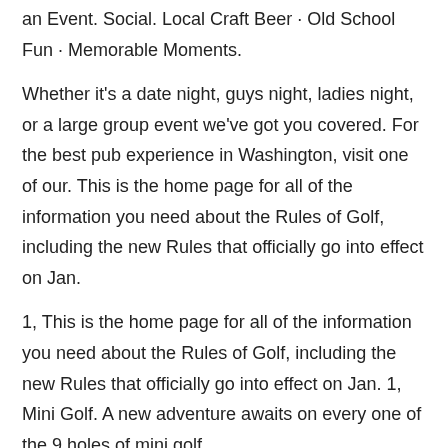an Event. Social. Local Craft Beer · Old School Fun · Memorable Moments.
Whether it's a date night, guys night, ladies night, or a large group event we've got you covered. For the best pub experience in Washington, visit one of our. This is the home page for all of the information you need about the Rules of Golf, including the new Rules that officially go into effect on Jan.
1, This is the home page for all of the information you need about the Rules of Golf, including the new Rules that officially go into effect on Jan. 1, Mini Golf. A new adventure awaits on every one of the 9 holes of mini golf.
Along the journey, be sure to check out the art on the walls and don't be alarmed when. Putting greens are specially prepared for playing the ball along the ground and there is a flagstick for the hole on each putting green, so certain different Rules apply than for other areas of the course.
Actions Allowed or Required on Putting Greens Purpose of Rule: This